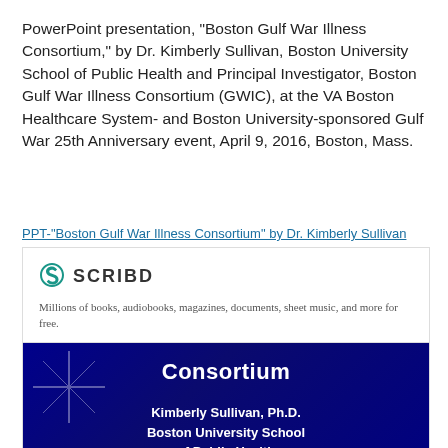PowerPoint presentation, "Boston Gulf War Illness Consortium," by Dr. Kimberly Sullivan, Boston University School of Public Health and Principal Investigator, Boston Gulf War Illness Consortium (GWIC), at the VA Boston Healthcare System- and Boston University-sponsored Gulf War 25th Anniversary event, April 9, 2016, Boston, Mass.
PPT-"Boston Gulf War Illness Consortium" by Dr. Kimberly Sullivan
[Figure (screenshot): Scribd embed card showing the logo with 'S SCRIBD' and tagline 'Millions of books, audiobooks, magazines, documents, sheet music, and more for free.' Below is a preview of the presentation slide with a dark blue background showing 'Consortium' in bold white text and 'Kimberly Sullivan, Ph.D. Boston University School of Public Health' in bold white text.]